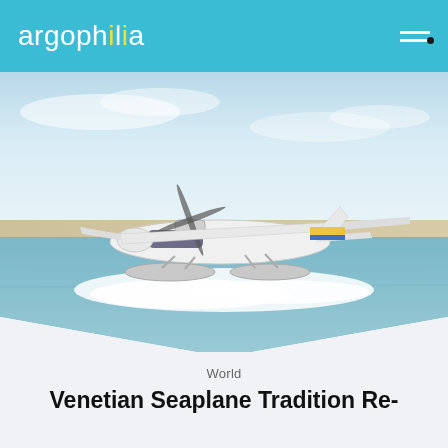argophilia
[Figure (photo): A white seaplane taking off or landing on water, with spray around its floats. Sandy beach and blue sky in the background.]
World
Venetian Seaplane Tradition Re-